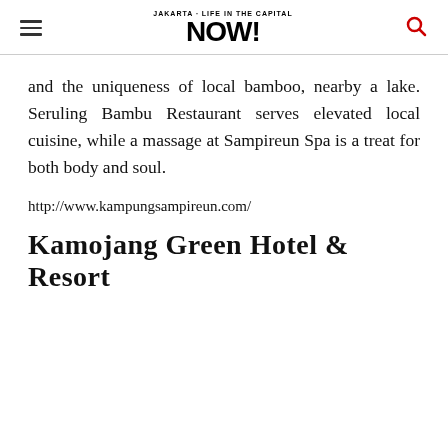Jakarta NOW! [navigation header with hamburger menu, logo, and search icon]
and the uniqueness of local bamboo, nearby a lake. Seruling Bambu Restaurant serves elevated local cuisine, while a massage at Sampireun Spa is a treat for both body and soul.
http://www.kampungsampireun.com/
Kamojang Green Hotel & Resort